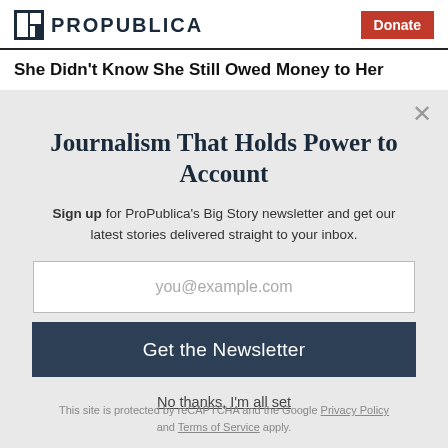ProPublica | Donate
She Didn't Know She Still Owed Money to Her
Journalism That Holds Power to Account
Sign up for ProPublica's Big Story newsletter and get our latest stories delivered straight to your inbox.
you@example.com
Get the Newsletter
No thanks, I'm all set
This site is protected by reCAPTCHA and the Google Privacy Policy and Terms of Service apply.